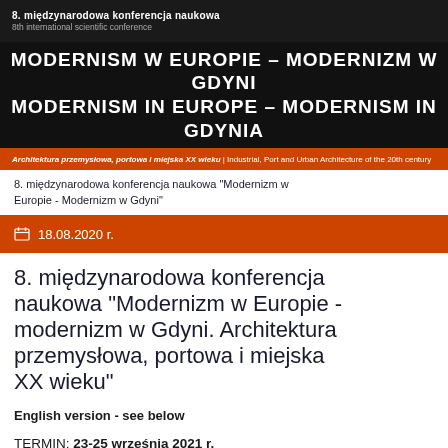8. międzynarodowa konferencja naukowa
8th international scientific conference
MODERNISM W EUROPIE – MODERNIZM W GDYNI
MODERNISM IN EUROPE – MODERNISM IN GDYNIA
Architektura przemysłowa, portowa i miejska XX wieku | Industrial, Port and Urban Architecture of the 20th century
8. międzynarodowa konferencja naukowa "Modernizm w Europie - Modernizm w Gdyni"
18.08.2020 r.
8. międzynarodowa konferencja naukowa "Modernizm w Europie - modernizm w Gdyni. Architektura przemysłowa, portowa i miejska XX wieku"
English version - see below
TERMIN: 23-25 września 2021 r.